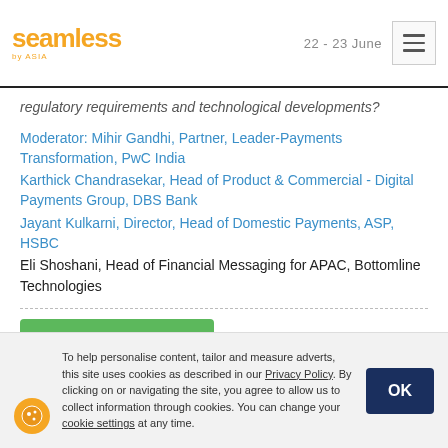seamless | 22 - 23 June
regulatory requirements and technological developments?
Moderator: Mihir Gandhi, Partner, Leader-Payments Transformation, PwC India
Karthick Chandrasekar, Head of Product & Commercial - Digital Payments Group, DBS Bank
Jayant Kulkarni, Director, Head of Domestic Payments, ASP, HSBC
Eli Shoshani, Head of Financial Messaging for APAC, Bottomline Technologies
← back to speakers
last published: 23/Jun/22 07:55 GMT
To help personalise content, tailor and measure adverts, this site uses cookies as described in our Privacy Policy. By clicking on or navigating the site, you agree to allow us to collect information through cookies. You can change your cookie settings at any time.